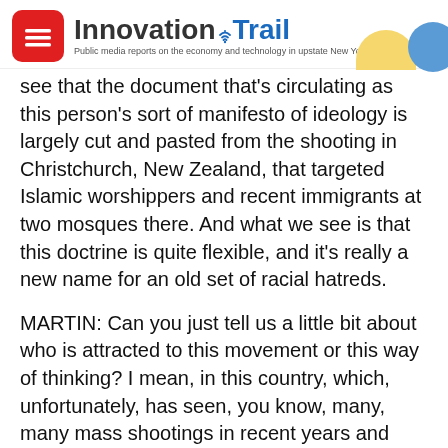Innovation Trail — Public media reports on the economy and technology in upstate New York
see that the document that's circulating as this person's sort of manifesto of ideology is largely cut and pasted from the shooting in Christchurch, New Zealand, that targeted Islamic worshippers and recent immigrants at two mosques there. And what we see is that this doctrine is quite flexible, and it's really a new name for an old set of racial hatreds.
MARTIN: Can you just tell us a little bit about who is attracted to this movement or this way of thinking? I mean, in this country, which, unfortunately, has seen, you know, many, many mass shootings in recent years and certainly this year alone, there does seem to be a certain profile. That seems to be